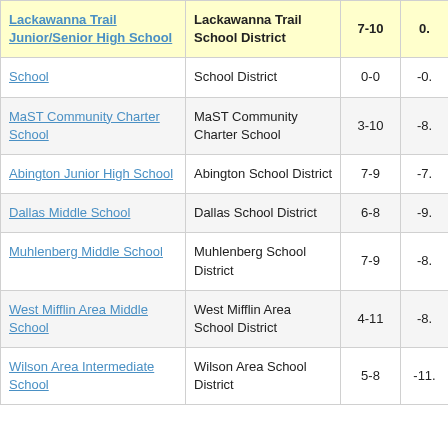| School | District | Grades | Score |
| --- | --- | --- | --- |
| Lackawanna Trail Junior/Senior High School | Lackawanna Trail School District | 7-10 | 0. |
| School | School District | 0-0 | -0. |
| MaST Community Charter School | MaST Community Charter School | 3-10 | -8. |
| Abington Junior High School | Abington School District | 7-9 | -7. |
| Dallas Middle School | Dallas School District | 6-8 | -9. |
| Muhlenberg Middle School | Muhlenberg School District | 7-9 | -8. |
| West Mifflin Area Middle School | West Mifflin Area School District | 4-11 | -8. |
| Wilson Area Intermediate School | Wilson Area School District | 5-8 | -11. |